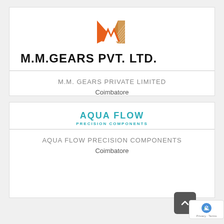[Figure (logo): M.M. Gears Pvt. Ltd. logo - orange letter M with hatched pattern]
M.M.GEARS PVT. LTD.
M.M. GEARS PRIVATE LIMITED
Coimbatore
[Figure (logo): Aqua Flow Precision Components logo - teal/cyan text logo]
AQUA FLOW PRECISION COMPONENTS
Coimbatore